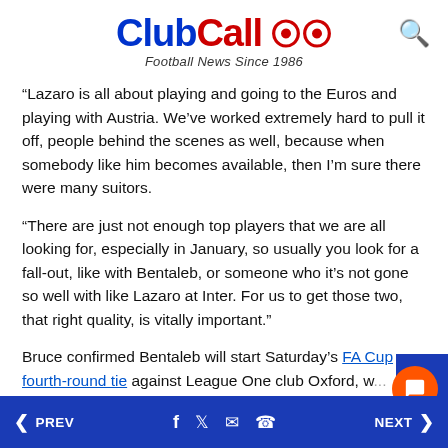ClubCall - Football News Since 1986
“Lazaro is all about playing and going to the Euros and playing with Austria. We’ve worked extremely hard to pull it off, people behind the scenes as well, because when somebody like him becomes available, then I’m sure there were many suitors.
“There are just not enough top players that we are all looking for, especially in January, so usually you look for a fall-out, like with Bentaleb, or someone who it’s not gone so well with like Lazaro at Inter. For us to get those two, that right quality, is vitally important.”
Bruce confirmed Bentaleb will start Saturday’s FA Cup fourth-round tie against League One club Oxford, w...
PREV | social icons | NEXT